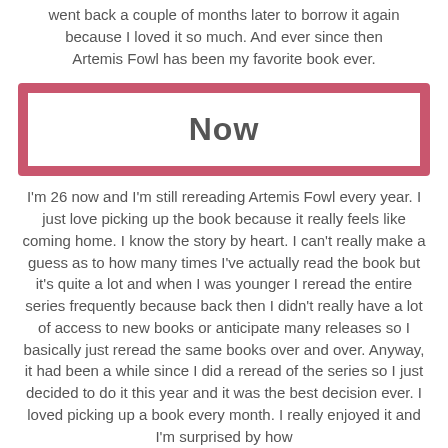The story instantly hooked me and I remember I even went back a couple of months later to borrow it again because I loved it so much. And ever since then Artemis Fowl has been my favorite book ever.
Now
I'm 26 now and I'm still rereading Artemis Fowl every year. I just love picking up the book because it really feels like coming home. I know the story by heart. I can't really make a guess as to how many times I've actually read the book but it's quite a lot and when I was younger I reread the entire series frequently because back then I didn't really have a lot of access to new books or anticipate many releases so I basically just reread the same books over and over. Anyway, it had been a while since I did a reread of the series so I just decided to do it this year and it was the best decision ever. I loved picking up a book every month. I really enjoyed it and I'm surprised by how